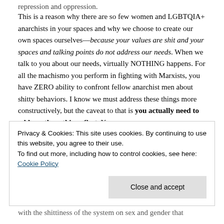repression and oppression.
This is a reason why there are so few women and LGBTQIA+ anarchists in your spaces and why we choose to create our own spaces ourselves—because your values are shit and your spaces and talking points do not address our needs. When we talk to you about our needs, virtually NOTHING happens. For all the machismo you perform in fighting with Marxists, you have ZERO ability to confront fellow anarchist men about shitty behaviors. I know we must address these things more constructively, but the caveat to that is you actually need to address these things first. You
Privacy & Cookies: This site uses cookies. By continuing to use this website, you agree to their use.
To find out more, including how to control cookies, see here: Cookie Policy
with the shittiness of the system on sex and gender that